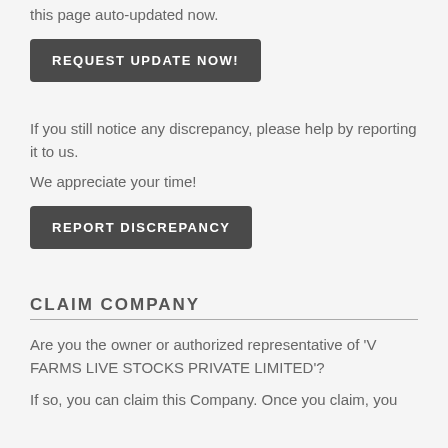this page auto-updated now.
REQUEST UPDATE NOW!
If you still notice any discrepancy, please help by reporting it to us.
We appreciate your time!
REPORT DISCREPANCY
CLAIM COMPANY
Are you the owner or authorized representative of 'V FARMS LIVE STOCKS PRIVATE LIMITED'?
If so, you can claim this Company. Once you claim, you